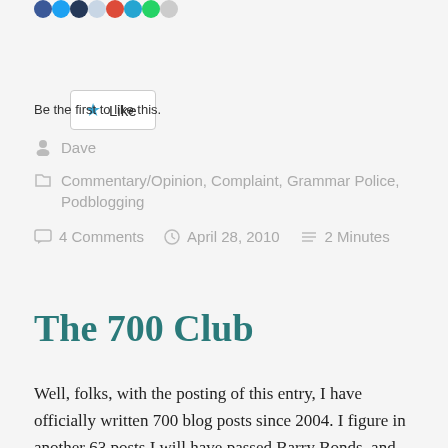[Figure (other): Row of social sharing icon circles (blue, light blue, dark navy, light grey, red, teal, green, grey) at top of page]
[Figure (other): Like button with star icon and 'Like' text in a rounded rectangle box]
Be the first to like this.
Dave
Commentary/Opinion, Complaint, Grammar Police, Podblogging
4 Comments   April 28, 2010   2 Minutes
The 700 Club
Well, folks, with the posting of this entry, I have officially written 700 blog posts since 2004. I figure in another 63 posts I will have passed Barry Bonds, and without the use of HGH or